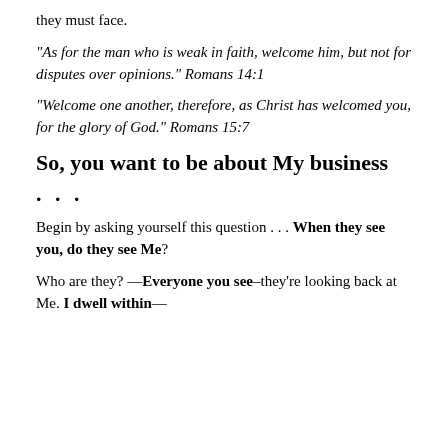they must face.
“As for the man who is weak in faith, welcome him, but not for disputes over opinions.” Romans 14:1
“Welcome one another, therefore, as Christ has welcomed you, for the glory of God.” Romans 15:7
So, you want to be about My business
. . .
Begin by asking yourself this question . . . When they see you, do they see Me?
Who are they? —Everyone you see–they’re looking back at Me. I dwell within—